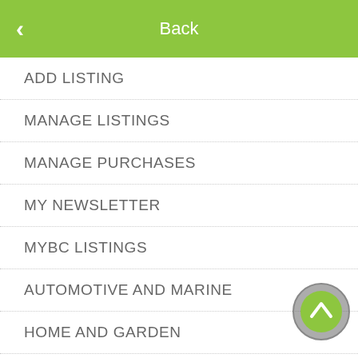Back
ADD LISTING
MANAGE LISTINGS
MANAGE PURCHASES
MY NEWSLETTER
MYBC LISTINGS
AUTOMOTIVE AND MARINE
HOME AND GARDEN
ADVERTISING AND MARKETING
into smoothies
rug Administration.
[Figure (photo): Green background panel with a scroll-up button (circular green button with upward chevron) overlaid on what appears to be a photo of rolled paper currency.]